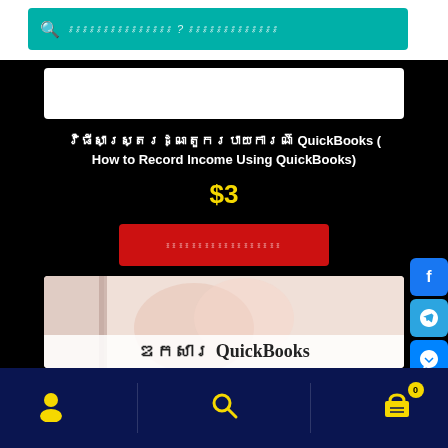[Figure (screenshot): Search bar with teal background and search icon with Khmer placeholder text]
វិធីសាស្ត្ររក្សាទុករបាយការណ៍ QuickBooks (How to Record Income Using QuickBooks)
$3
[Figure (screenshot): Red button with Khmer text for purchase/add to cart]
[Figure (screenshot): Book cover image with text 'ផកសារ QuickBooks']
[Figure (infographic): Social share panel with Facebook, Telegram, Messenger, LinkedIn buttons and Share label]
[Figure (screenshot): Bottom navigation bar with user icon, search icon, and cart icon with badge showing 0, on dark navy background]